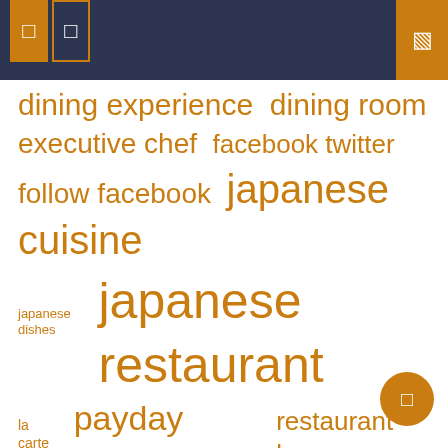navigation icons header bar
[Figure (infographic): Tag cloud of terms related to Japanese restaurant dining, displayed in varying font sizes in orange/amber color on white background. Terms include: dining experience, dining room, executive chef, facebook twitter, follow facebook, japanese cuisine, japanese dishes, japanese restaurant, la carte, payday loans, restaurant bar, restaurant open, slated open, subscribe newsletter, sushi bar, sushi restaurant, sushi sashimi, traditional japanese, twitter loading, united states]